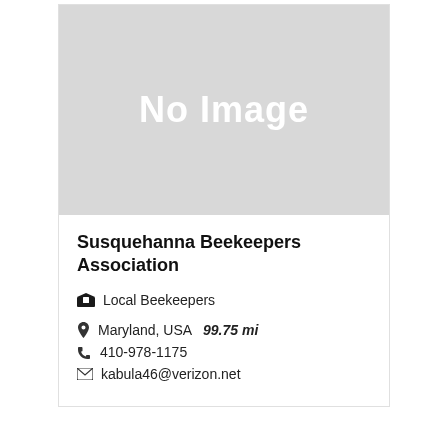[Figure (illustration): Grey placeholder box with 'No Image' text in white]
Susquehanna Beekeepers Association
Local Beekeepers
Maryland, USA   99.75 mi
410-978-1175
kabula46@verizon.net